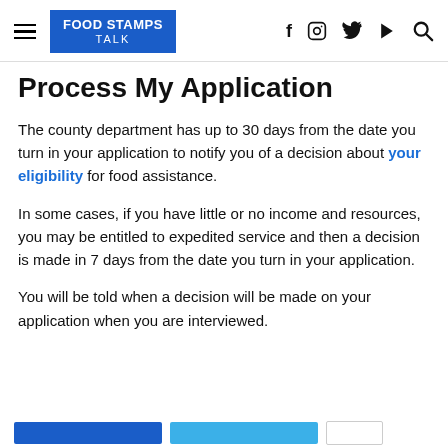FOOD STAMPS TALK
Process My Application
The county department has up to 30 days from the date you turn in your application to notify you of a decision about your eligibility for food assistance.
In some cases, if you have little or no income and resources, you may be entitled to expedited service and then a decision is made in 7 days from the date you turn in your application.
You will be told when a decision will be made on your application when you are interviewed.